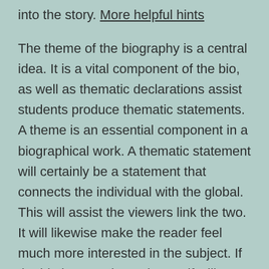into the story. More helpful hints
The theme of the biography is a central idea. It is a vital component of the bio, as well as thematic declarations assist students produce thematic statements. A theme is an essential component in a biographical work. A thematic statement will certainly be a statement that connects the individual with the global. This will assist the viewers link the two. It will likewise make the reader feel much more interested in the subject. If the bio is not unique, the motif will not be meaningful.